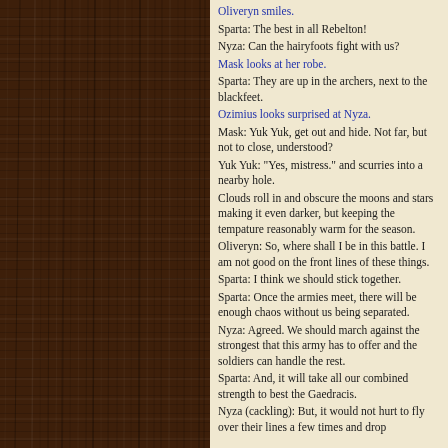[Figure (illustration): Dark wood-grain panel on the left side of the page]
Oliveryn smiles.
Sparta: The best in all Rebelton!
Nyza: Can the hairyfoots fight with us?
Mask looks at her robe.
Sparta: They are up in the archers, next to the blackfeet.
Ozimius looks surprised at Nyza.
Mask: Yuk Yuk, get out and hide. Not far, but not to close, understood?
Yuk Yuk: "Yes, mistress." and scurries into a nearby hole.
Clouds roll in and obscure the moons and stars making it even darker, but keeping the tempature reasonably warm for the season.
Oliveryn: So, where shall I be in this battle. I am not good on the front lines of these things.
Sparta: I think we should stick together.
Sparta: Once the armies meet, there will be enough chaos without us being separated.
Nyza: Agreed. We should march against the strongest that this army has to offer and the soldiers can handle the rest.
Sparta: And, it will take all our combined strength to best the Gaedracis.
Nyza (cackling): But, it would not hurt to fly over their lines a few times and drop